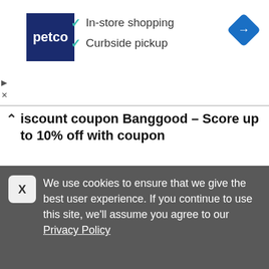[Figure (screenshot): Petco ad banner with logo, checkmarks for In-store shopping and Curbside pickup, and a blue navigation diamond icon]
iscount coupon Banggood - Score up to 10% off with coupon
Use the code and get 10% off your order at BANGGOOD.
[Figure (screenshot): SHOW CODE button with gray and blue sections, showing partial code ER8]
Share   0 times used
[Figure (screenshot): Partially visible coupon card with blue diagonal ribbon showing Cou text]
We use cookies to ensure that we give the best user experience. If you continue to use this site, we'll assume you agree to our Privacy Policy